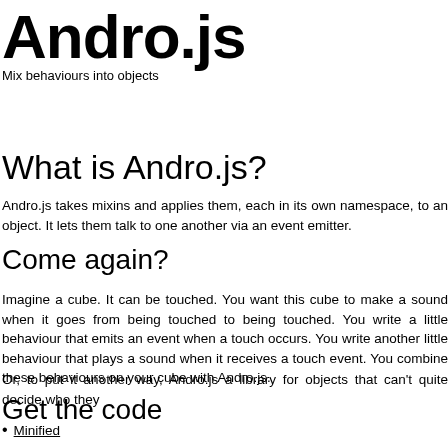Andro.js
Mix behaviours into objects
What is Andro.js?
Andro.js takes mixins and applies them, each in its own namespace, to an object. It lets them talk to one another via an event emitter.
Come again?
Imagine a cube. It can be touched. You want this cube to make a sound when it goes from being touched to being touched. You write a little behaviour that emits an event when a touch occurs. You write another little behaviour that plays a sound when it receives a touch event. You combine these behaviours on your cube with Andro.js.
Or, to put it another way, Andro.js a library for objects that can't quite decide who they
Get the code
Minified
Single file
GitHub
npm $ npm install androjs